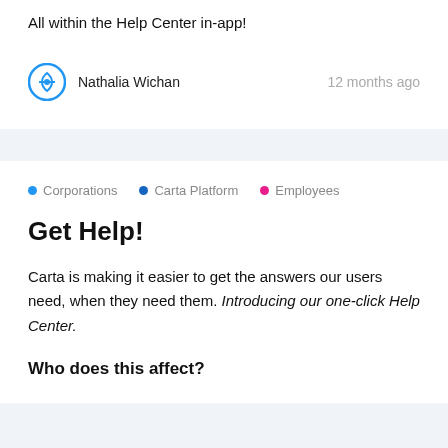All within the Help Center in-app!
Nathalia Wichan   12 months ago
Corporations  Carta Platform  Employees
Get Help!
Carta is making it easier to get the answers our users need, when they need them. Introducing our one-click Help Center.
Who does this affect?